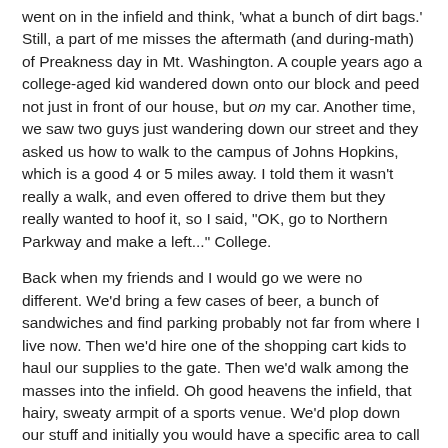went on in the infield and think, 'what a bunch of dirt bags.' Still, a part of me misses the aftermath (and during-math) of Preakness day in Mt. Washington. A couple years ago a college-aged kid wandered down onto our block and peed not just in front of our house, but on my car. Another time, we saw two guys just wandering down our street and they asked us how to walk to the campus of Johns Hopkins, which is a good 4 or 5 miles away. I told them it wasn't really a walk, and even offered to drive them but they really wanted to hoof it, so I said, "OK, go to Northern Parkway and make a left..." College.
Back when my friends and I would go we were no different. We'd bring a few cases of beer, a bunch of sandwiches and find parking probably not far from where I live now. Then we'd hire one of the shopping cart kids to haul our supplies to the gate. Then we'd walk among the masses into the infield. Oh good heavens the infield, that hairy, sweaty armpit of a sports venue. We'd plop down our stuff and initially you would have a specific area to call your own, outlined with string or by the outline of your chairs. But the over the course of the day the lines would blur and blend from one camp to